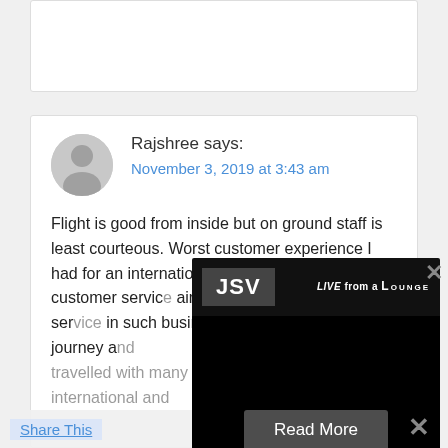[Figure (screenshot): Top of a partially visible comment card (white rounded rectangle with border)]
Rajshree says:
November 3, 2019 at 3:43 am
Flight is good from inside but on ground staff is least courteous. Worst customer experience I had for an international connection. I ne... customer servic... airport with a 24... cannot offer ser... in such business... had on my return journey a... travelled with many carriers and if I am flying international and...
[Figure (screenshot): Video popup overlay showing JSV badge and Live from a Lounge branding with a black video area and Read More button]
Share This